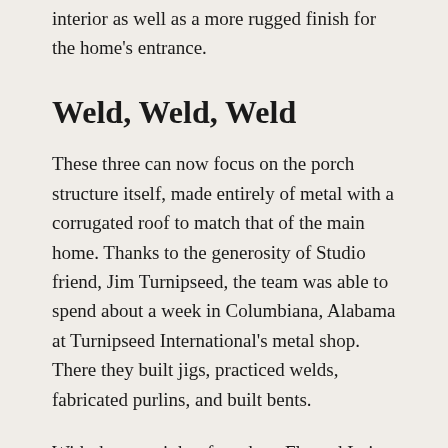interior as well as a more rugged finish for the home's entrance.
Weld, Weld, Weld
These three can now focus on the porch structure itself, made entirely of metal with a corrugated roof to match that of the main home. Thanks to the generosity of Studio friend, Jim Turnipseed, the team was able to spend about a week in Columbiana, Alabama at Turnipseed International's metal shop. There they built jigs, practiced welds, fabricated purlins, and built bents.
With the oversight of teachers Flo and Luis, they quickly learn the equipment, cut pieces to length,